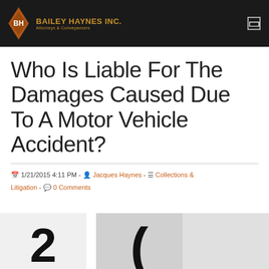BAILEY HAYNES INC. Attorneys & Conveyancers
Who Is Liable For The Damages Caused Due To A Motor Vehicle Accident?
1/21/2015 4:11 PM - Jacques Haynes - Collections & Litigation - 0 Comments
[Figure (photo): Two question mark images side by side, large black question marks on white/grey backgrounds]